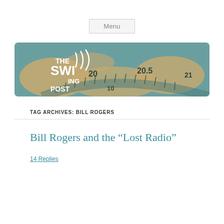Menu
[Figure (logo): The Swinging Post blog banner with radio dial and world map background]
TAG ARCHIVES: BILL ROGERS
Bill Rogers and the “Lost Radio”
14 Replies